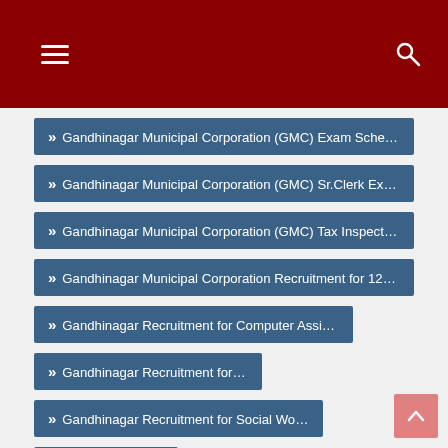Navigation header with menu and search icons
Gandhinagar Municipal Corporation (GMC) Exam Schedule for
Gandhinagar Municipal Corporation (GMC) Sr.Clerk Exam Official
Gandhinagar Municipal Corporation (GMC) Tax Inspector Final
Gandhinagar Municipal Corporation Recruitment for 126 Various
Gandhinagar Recruitment for Computer Assistant Post 2018
Gandhinagar Recruitment for JRF Posts 2018
Gandhinagar Recruitment for Social Worker Post 2018
GEER fOUNDATION
GEER Foundation Recruitment for Scientist-B
GEMI Recruitment for Professional (Project Assistant) Posts 2018
Gender Resource Center
Gender Resource Center (Police Station based Support Center)